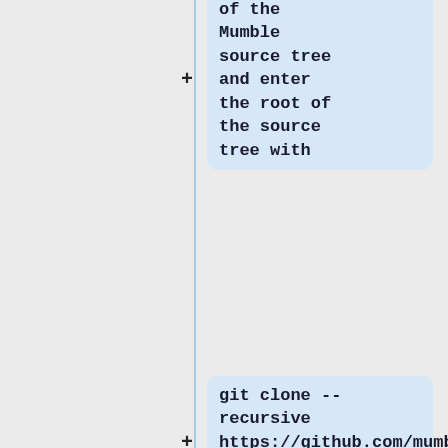of the Mumble source tree and enter the root of the source tree with
git clone --recursive https://github.com/mumble-voip/mumble.git mumble
cd mumble
to generate Makefiles for use with the build